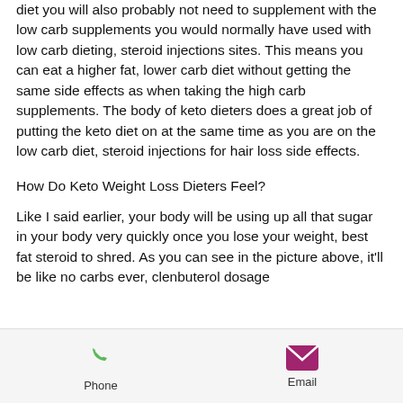diet you will also probably not need to supplement with the low carb supplements you would normally have used with low carb dieting, steroid injections sites. This means you can eat a higher fat, lower carb diet without getting the same side effects as when taking the high carb supplements. The body of keto dieters does a great job of putting the keto diet on at the same time as you are on the low carb diet, steroid injections for hair loss side effects.
How Do Keto Weight Loss Dieters Feel?
Like I said earlier, your body will be using up all that sugar in your body very quickly once you lose your weight, best fat steroid to shred. As you can see in the picture above, it'll be like no carbs ever, clenbuterol dosage
Phone   Email